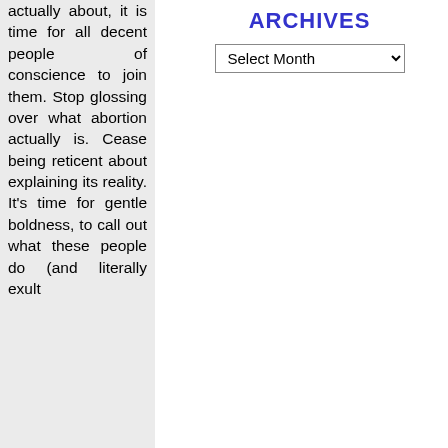actually about, it is time for all decent people of conscience to join them. Stop glossing over what abortion actually is. Cease being reticent about explaining its reality. It's time for gentle boldness, to call out what these people do (and literally exult
ARCHIVES
Select Month